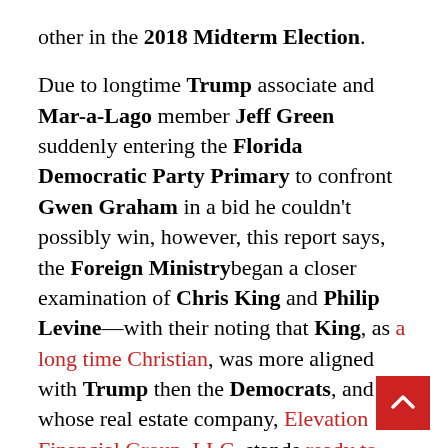other in the 2018 Midterm Election.
Due to longtime Trump associate and Mar-a-Lago member Jeff Green suddenly entering the Florida Democratic Party Primary to confront Gwen Graham in a bid he couldn't possibly win, however, this report says, the Foreign Ministrybegan a closer examination of Chris King and Philip Levine—with their noting that King, as a long time Christian, was more aligned with Trump then the Democrats, and whose real estate company, Elevation Financial Group, LLC, stands ready to make tens-of-millions of dollars from Trump's Housing and Urban Development Department—